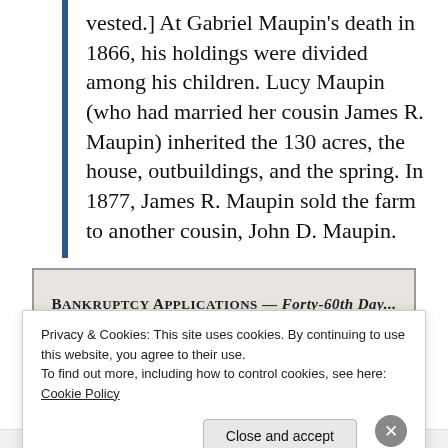vested.] At Gabriel Maupin's death in 1866, his holdings were divided among his children. Lucy Maupin (who had married her cousin James R. Maupin) inherited the 130 acres, the house, outbuildings, and the spring. In 1877, James R. Maupin sold the farm to another cousin, John D. Maupin.
[Figure (screenshot): Partial view of a historical newspaper clipping with bold header text reading 'BANKRUPTCY APPLICATIONS — Forty-60th Day...']
Privacy & Cookies: This site uses cookies. By continuing to use this website, you agree to their use.
To find out more, including how to control cookies, see here: Cookie Policy